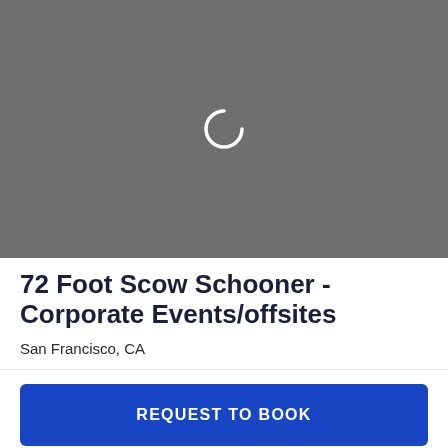[Figure (screenshot): Gray loading placeholder image area with a white circular spinner/loading icon in the center]
72 Foot Scow Schooner - Corporate Events/offsites
San Francisco, CA
REQUEST TO BOOK